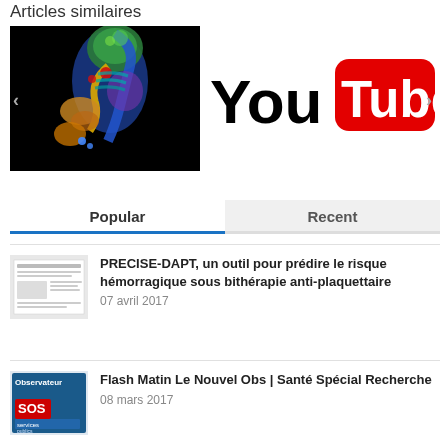Articles similaires
[Figure (photo): Colorful fluorescence microscopy image of a mouse embryo with multicolor labeling of different tissues on a black background, shown in a slideshow carousel]
[Figure (logo): YouTube logo — 'You' in black text followed by red rounded rectangle with white 'Tube' text]
Popular
Recent
[Figure (photo): Thumbnail of a medical journal article page]
PRECISE-DAPT, un outil pour prédire le risque hémorragique sous bithérapie anti-plaquettaire
07 avril 2017
[Figure (photo): Thumbnail of Observateur magazine cover with SOS services publics theme]
Flash Matin Le Nouvel Obs | Santé Spécial Recherche
08 mars 2017